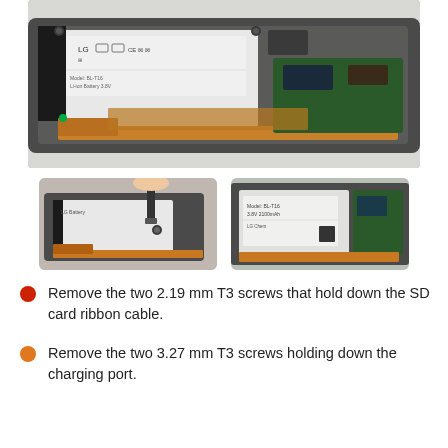[Figure (photo): Large photo showing the interior of a tablet device with battery, ribbon cables, and copper-colored flex cables visible from above.]
[Figure (photo): Thumbnail photo showing a screwdriver being used to remove screws near the battery in the tablet interior.]
[Figure (photo): Thumbnail photo showing the tablet interior with battery and circuit board visible.]
Remove the two 2.19 mm T3 screws that hold down the SD card ribbon cable.
Remove the two 3.27 mm T3 screws holding down the charging port.